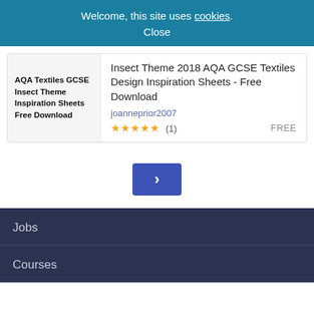Welcome, this site uses cookies. Close
Insect Theme 2018 AQA GCSE Textiles Design Inspiration Sheets - Free Download
joanneprior2007
★★★★★ (1) FREE
AQA Textiles GCSE Insect Theme Inspiration Sheets Free Download
>
Jobs
Courses